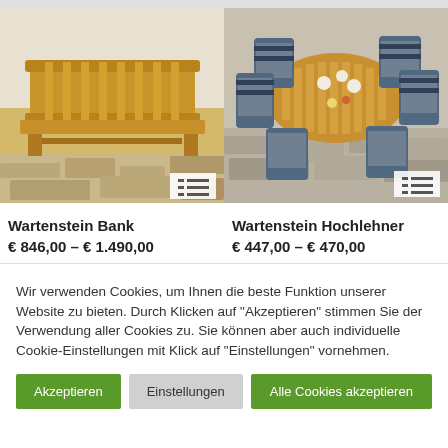[Figure (photo): Outdoor wooden bench (Wartenstein Bank) on stone pavement against a wall]
[Figure (photo): Outdoor wooden dining table with six reclining chairs (Wartenstein Hochlehner) set with dishes]
Wartenstein Bank
€ 846,00 – € 1.490,00
Wartenstein Hochlehner
€ 447,00 – € 470,00
Wir verwenden Cookies, um Ihnen die beste Funktion unserer Website zu bieten. Durch Klicken auf "Akzeptieren" stimmen Sie der Verwendung aller Cookies zu. Sie können aber auch individuelle Cookie-Einstellungen mit Klick auf "Einstellungen" vornehmen.
Akzeptieren
Einstellungen
Alle Cookies akzeptieren